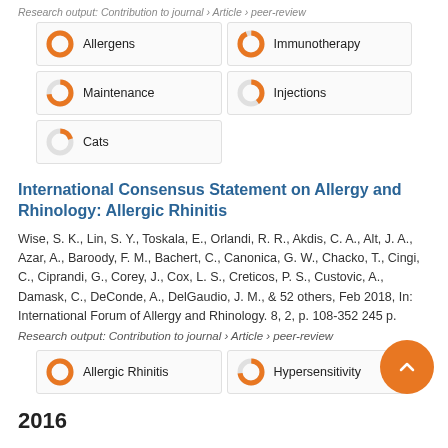Research output: Contribution to journal › Article › peer-review
[Figure (infographic): Keyword badges with donut chart icons: Allergens (100%), Immunotherapy (93%), Maintenance (73%), Injections (40%), Cats (20%)]
International Consensus Statement on Allergy and Rhinology: Allergic Rhinitis
Wise, S. K., Lin, S. Y., Toskala, E., Orlandi, R. R., Akdis, C. A., Alt, J. A., Azar, A., Baroody, F. M., Bachert, C., Canonica, G. W., Chacko, T., Cingi, C., Ciprandi, G., Corey, J., Cox, L. S., Creticos, P. S., Custovic, A., Damask, C., DeConde, A., DelGaudio, J. M., & 52 others, Feb 2018, In: International Forum of Allergy and Rhinology. 8, 2, p. 108-352 245 p.
Research output: Contribution to journal › Article › peer-review
[Figure (infographic): Keyword badges with donut chart icons: Allergic Rhinitis (100%), Hypersensitivity (73%)]
2016